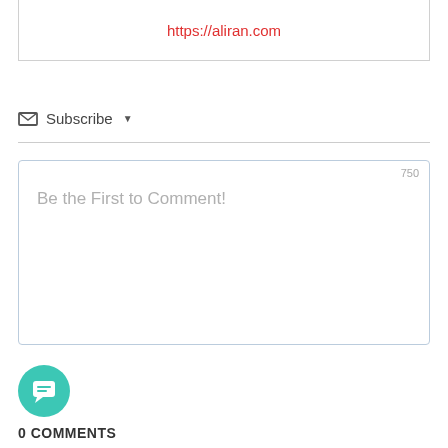https://aliran.com
Subscribe ▾
750
Be the First to Comment!
0 COMMENTS